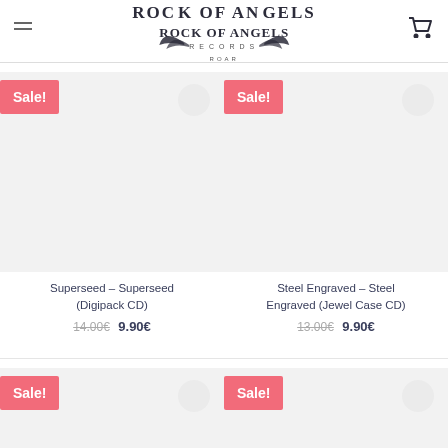Rock of Angels Records
[Figure (screenshot): Product card: Superseed – Superseed (Digipack CD) with Sale badge, wishlist circle button, grey placeholder image, old price 14.00€, new price 9.90€]
[Figure (screenshot): Product card: Steel Engraved – Steel Engraved (Jewel Case CD) with Sale badge, wishlist circle button, grey placeholder image, old price 13.00€, new price 9.90€]
[Figure (screenshot): Partial product card row 2 left: Sale badge and wishlist circle, grey placeholder image (cut off)]
[Figure (screenshot): Partial product card row 2 right: Sale badge and wishlist circle, grey placeholder image (cut off)]